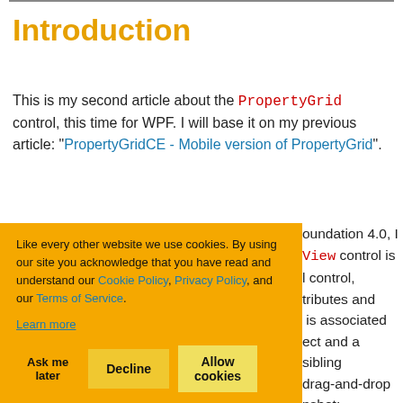Introduction
This is my second article about the PropertyGrid control, this time for WPF. I will base it on my previous article: "PropertyGridCE - Mobile version of PropertyGrid".
Like every other website we use cookies. By using our site you acknowledge that you have read and understand our Cookie Policy, Privacy Policy, and our Terms of Service. Learn more
oundation 4.0, I View control is l control, tributes and is associated ect and a sibling drag-and-drop nshot: